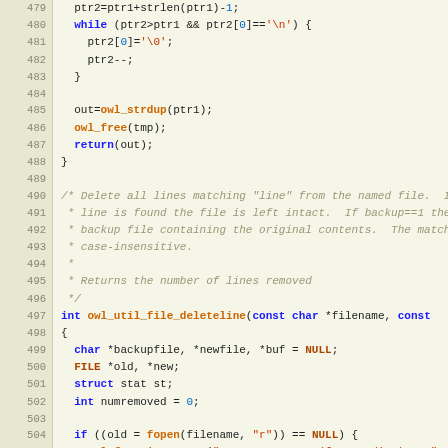[Figure (screenshot): Source code listing in C, lines 479-507, showing code for string manipulation and a function owl_util_file_deleteline with syntax highlighting on a light yellow background.]